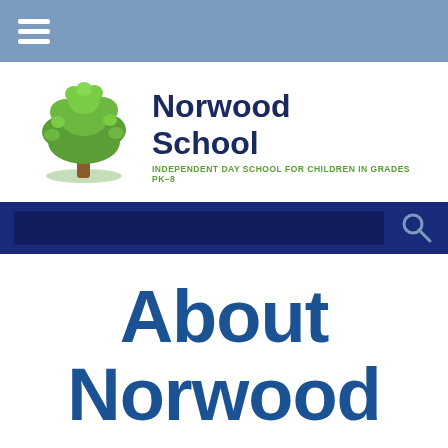Navigation menu bar with hamburger icon
[Figure (logo): Norwood School logo with green oak tree illustration and school name in navy blue. Tagline reads: INDEPENDENT DAY SCHOOL FOR CHILDREN IN GRADES PK-8]
[Figure (screenshot): Search bar on dark navy blue background with search magnifying glass icon on the right]
About Norwood